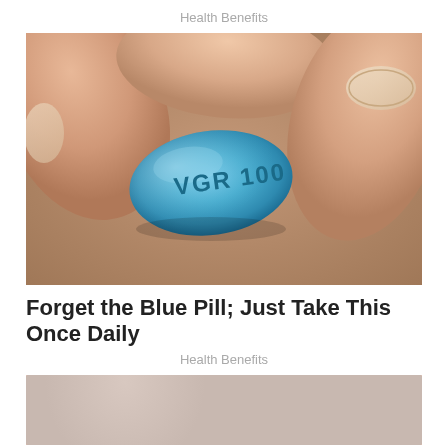Health Benefits
[Figure (photo): Close-up photo of fingers holding a blue diamond-shaped pill labeled VGR 100 (Viagra)]
Forget the Blue Pill; Just Take This Once Daily
Health Benefits
[Figure (photo): Photo of an elderly couple, partially visible at the bottom of the page]